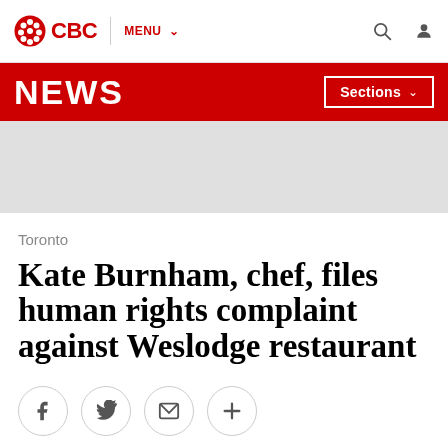CBC | MENU
NEWS | Sections
[Figure (other): Gray advertisement placeholder area]
Toronto
Kate Burnham, chef, files human rights complaint against Weslodge restaurant
[Figure (other): Social share buttons: Facebook, Twitter, Email, More]